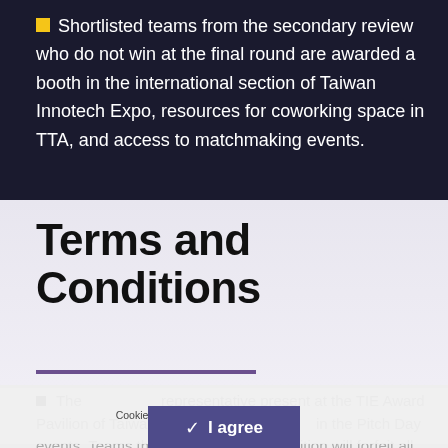Shortlisted teams from the secondary review who do not win at the final round are awarded a booth in the international section of Taiwan Innotech Expo, resources for coworking space in TTA, and access to matchmaking events.
Terms and Conditions
The [obscured by cookie banner] representative present at the TIE Award Pavilion of Taiwan Innotech Expo [obscured] in the Pitch Day events. Teams that fail to fulfill this condition will forfeit all awards and allowances. Teams are required to [cut off]